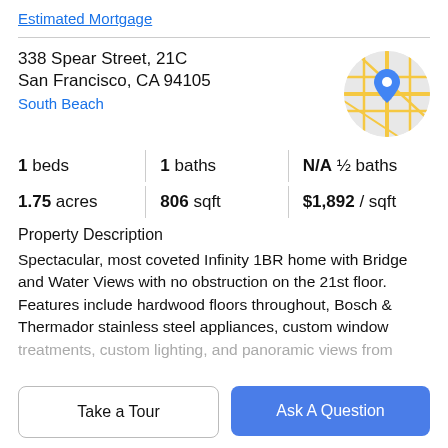Estimated Mortgage
338 Spear Street, 21C
San Francisco, CA 94105
South Beach
[Figure (map): Circular map thumbnail showing South Beach area of San Francisco with a blue location pin marker]
1 beds | 1 baths | N/A ½ baths
1.75 acres | 806 sqft | $1,892 / sqft
Property Description
Spectacular, most coveted Infinity 1BR home with Bridge and Water Views with no obstruction on the 21st floor. Features include hardwood floors throughout, Bosch & Thermador stainless steel appliances, custom window treatments, custom lighting, and panoramic views from